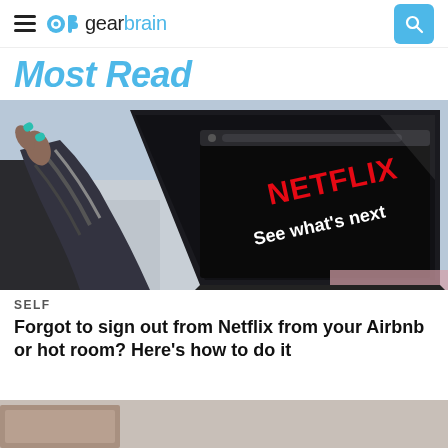gearbrain
Most Read
[Figure (photo): Person holding a laptop showing the Netflix homepage with 'See what's next' text visible on screen]
SELF
Forgot to sign out from Netflix from your Airbnb or hot room? Here's how to do it